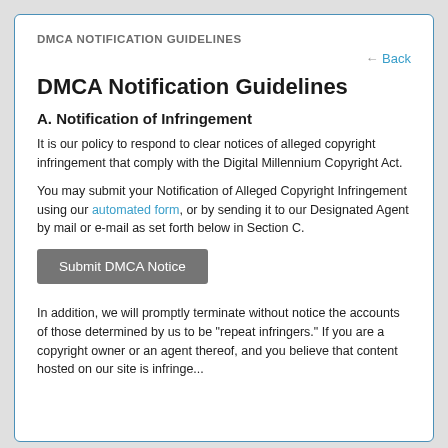DMCA NOTIFICATION GUIDELINES
← Back
DMCA Notification Guidelines
A. Notification of Infringement
It is our policy to respond to clear notices of alleged copyright infringement that comply with the Digital Millennium Copyright Act.
You may submit your Notification of Alleged Copyright Infringement using our automated form, or by sending it to our Designated Agent by mail or e-mail as set forth below in Section C.
Submit DMCA Notice
In addition, we will promptly terminate without notice the accounts of those determined by us to be "repeat infringers." If you are a copyright owner or an agent thereof, and you believe that content hosted on our site is infringe...